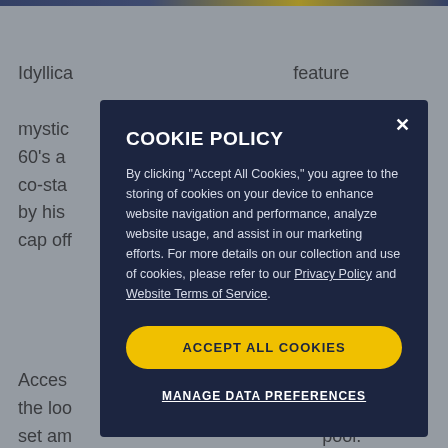Idyllica... features... mystic... the 60's a... an co-sta... spired by his ... or cap off...
COOKIE POLICY
By clicking "Accept All Cookies," you agree to the storing of cookies on your device to enhance website navigation and performance, analyze website usage, and assist in our marketing efforts. For more details on our collection and use of cookies, please refer to our Privacy Policy and Website Terms of Service.
ACCEPT ALL COOKIES
MANAGE DATA PREFERENCES
Acces... Tahiti, the loo... illas, set am... pool. It's a ra... experience where white sand beaches meet azure seas frequented by sea turtles, manta rays, and exotic birds.